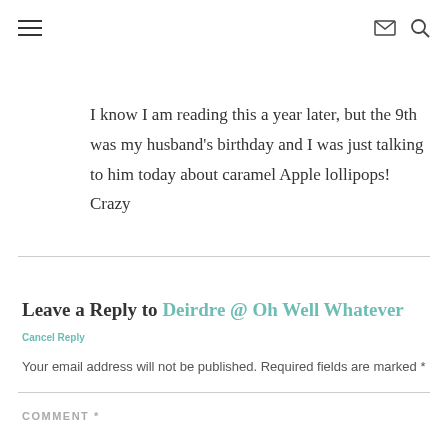≡  ✉ 🔍
I know I am reading this a year later, but the 9th was my husband's birthday and I was just talking to him today about caramel Apple lollipops! Crazy
Leave a Reply to Deirdre @ Oh Well Whatever Cancel Reply
Your email address will not be published. Required fields are marked *
COMMENT *